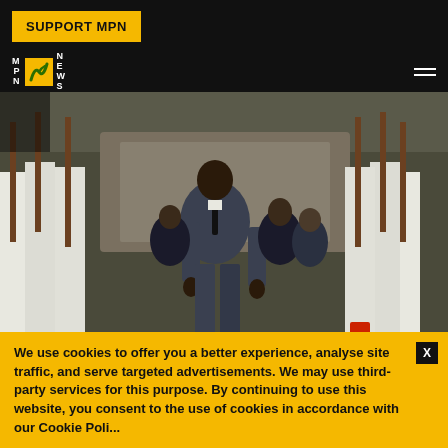SUPPORT MPN
[Figure (photo): Haitian president walking between rows of honor guards holding rifles, dressed in a dark suit, with entourage behind him]
BEHIND THE HEADLINES
WHAT'S BEHIND THE ASSASSINATION OF
We use cookies to offer you a better experience, analyse site traffic, and serve targeted advertisements. We may use third-party services for this purpose. By continuing to use this website, you consent to the use of cookies in accordance with our Cookie Poli...